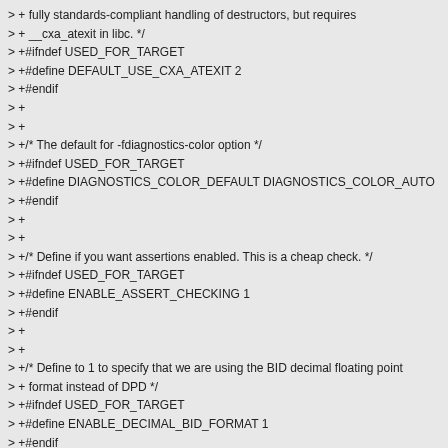> +   fully standards-compliant handling of destructors, but requires
> +   __cxa_atexit in libc. */
> +#ifndef USED_FOR_TARGET
> +#define DEFAULT_USE_CXA_ATEXIT 2
> +#endif
> +
> +
> +/* The default for -fdiagnostics-color option */
> +#ifndef USED_FOR_TARGET
> +#define DIAGNOSTICS_COLOR_DEFAULT DIAGNOSTICS_COLOR_AUTO
> +#endif
> +
> +
> +/* Define if you want assertions enabled. This is a cheap check. */
> +#ifndef USED_FOR_TARGET
> +#define ENABLE_ASSERT_CHECKING 1
> +#endif
> +
> +
> +/* Define to 1 to specify that we are using the BID decimal floating point
> +   format instead of DPD */
> +#ifndef USED_FOR_TARGET
> +#define ENABLE_DECIMAL_BID_FORMAT 1
> +#endif
> +